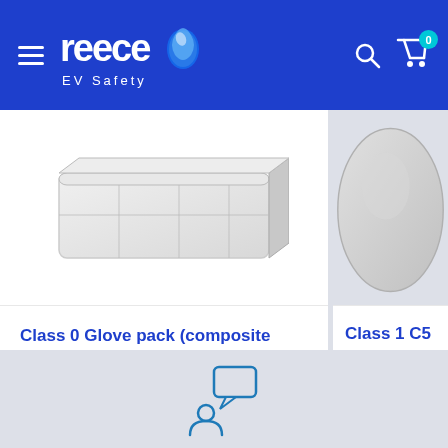[Figure (logo): Reece EV Safety logo — white text on blue header with stylized droplet/shield icon]
[Figure (photo): Class 0 glove pack product photo — translucent plastic storage box on white background]
Class 0 Glove pack (composite insulating gloves; glove box)
£91.81
[Figure (photo): Class 1 C5 Arc Flash Vented Helmet product photo — partial view of grey helmet on light background]
Class 1 C5 Arc Flash Vented Helmet
£57.71
[Figure (illustration): Chat / support icon — person with speech bubble, blue outline style]